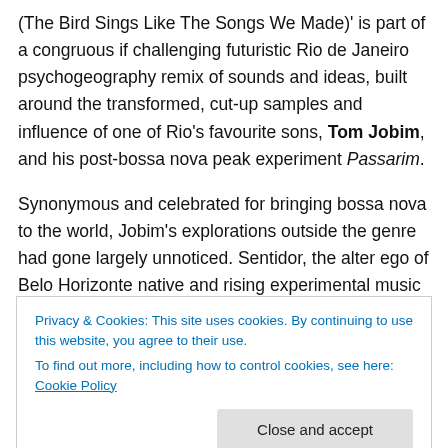(The Bird Sings Like The Songs We Made)' is part of a congruous if challenging futuristic Rio de Janeiro psychogeography remix of sounds and ideas, built around the transformed, cut-up samples and influence of one of Rio's favourite sons, Tom Jobim, and his post-bossa nova peak experiment Passarim.

Synonymous and celebrated for bringing bossa nova to the world, Jobim's explorations outside the genre had gone largely unnoticed. Sentidor, the alter ego of Belo Horizonte native and rising experimental music star João
Privacy & Cookies: This site uses cookies. By continuing to use this website, you agree to their use.
To find out more, including how to control cookies, see here: Cookie Policy
Close and accept